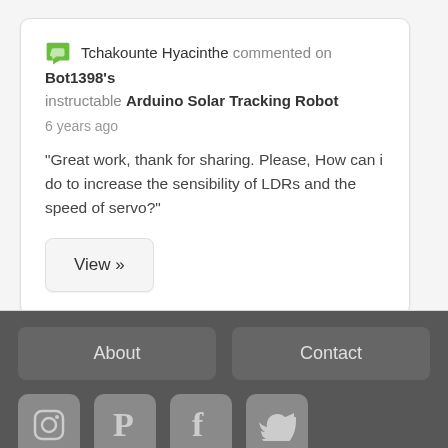Tchakounte Hyacinthe commented on Bot1398's instructable Arduino Solar Tracking Robot
6 years ago
"Great work, thank for sharing. Please, How can i do to increase the sensibility of LDRs and the speed of servo?"
View »
About   Contact